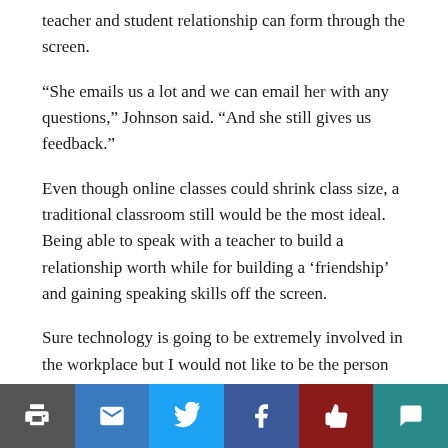teacher and student relationship can form through the screen.
“She emails us a lot and we can email her with any questions,” Johnson said. “And she still gives us feedback.”
Even though online classes could shrink class size, a traditional classroom still would be the most ideal. Being able to speak with a teacher to build a relationship worth while for building a ‘friendship’ and gaining speaking skills off the screen.
Sure technology is going to be extremely involved in the workplace but I would not like to be the person passing out or throwing up before I have to make a speech in front of my colleagues.
For now it seems the school’s main goal is to utilize all